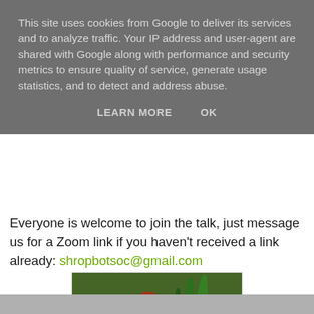This site uses cookies from Google to deliver its services and to analyze traffic. Your IP address and user-agent are shared with Google along with performance and security metrics to ensure quality of service, generate usage statistics, and to detect and address abuse.
LEARN MORE    OK
[Figure (photo): Photo of Drosera rotundifolia (Round-leaved Sundew) plant with red and green leaves, photo credit Mags Cousins]
Drosera rotundifolia Round-leaved Sundew photo Mags Cousins
Everyone is welcome to join the talk, just message us for a Zoom link if you haven't received a link already: shropbotsoc@gmail.com